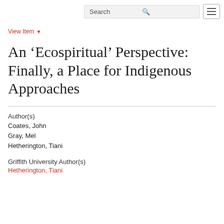Search | menu
View Item ▼
An ‘Ecospiritual’ Perspective: Finally, a Place for Indigenous Approaches
Author(s)
Coates, John
Gray, Mel
Hetherington, Tiani
Griffith University Author(s)
Hetherington, Tiani